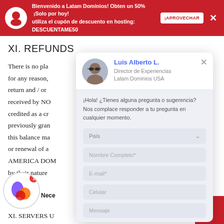Bienvenido a Latam Dominios! Obten un 50% ¡Solo por hoy! utiliza el cupón de descuento en hosting: DESCUENTAME50 ¡APROVECHAR
XI. REFUNDS
There is no pla... for any reason,... return and / or... received by NO... credited as a cr... previously gran... this balance ma... or renewal of a... AMERICA DOM... by their nature...
[Figure (screenshot): Chat popup widget showing Luis Alberto L., Director de Experiencias Latam Dominios USA, with a contact form including País dropdown, Nombre Completo, E-mail, Celular, and Mensaje fields]
R fo d do
Nece
XII. SERVERS U